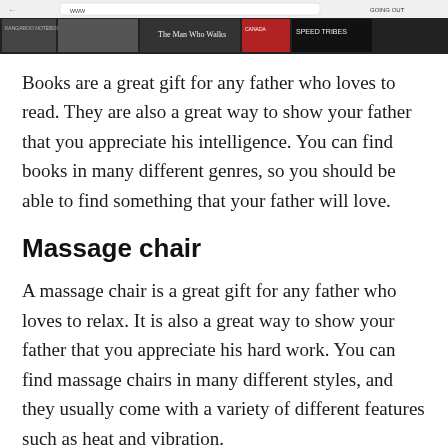[Figure (screenshot): A screenshot of a web page showing book covers including 'The Man Who Walks' and 'Speed Tribes' among others.]
Books are a great gift for any father who loves to read. They are also a great way to show your father that you appreciate his intelligence. You can find books in many different genres, so you should be able to find something that your father will love.
Massage chair
A massage chair is a great gift for any father who loves to relax. It is also a great way to show your father that you appreciate his hard work. You can find massage chairs in many different styles, and they usually come with a variety of different features such as heat and vibration.
Meat Tenderiser